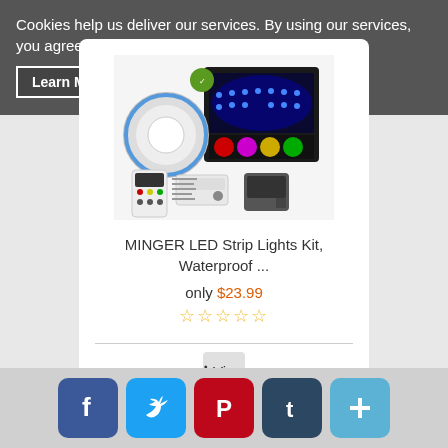Cookies help us deliver our services. By using our services, you agree to our use of cookies.
Learn More  Accept
[Figure (photo): MINGER LED Strip Lights Kit product image showing two LED light rolls, a remote control, controller, and power adapter]
MINGER LED Strip Lights Kit, Waterproof ...
only $23.99
★★★★★ (empty stars rating)
View
Add to Cart
[Figure (infographic): Social media sharing icons: Facebook, Twitter, Pinterest, Tumblr, and a plus/share button]